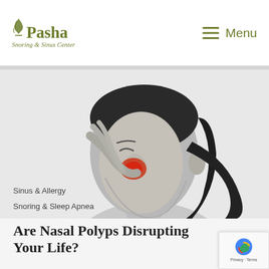Pasha Snoring & Sinus Center | Menu
[Figure (photo): Grayscale photo of a young Asian woman with eyes closed, pinching the bridge of her nose in pain, with a red highlight on her nose indicating sinus pain/nasal polyps. White/light gray background.]
Sinus & Allergy
Snoring & Sleep Apnea
Are Nasal Polyps Disrupting Your Life?